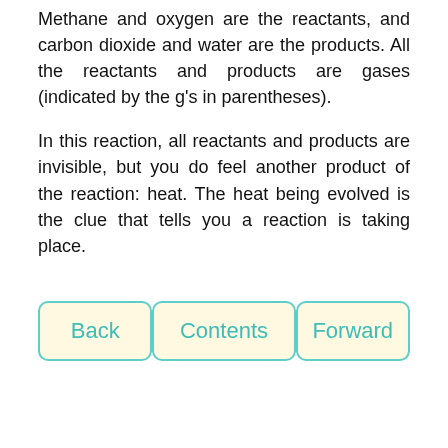Methane and oxygen are the reactants, and carbon dioxide and water are the products. All the reactants and products are gases (indicated by the g's in parentheses).
In this reaction, all reactants and products are invisible, but you do feel another product of the reaction: heat. The heat being evolved is the clue that tells you a reaction is taking place.
Back
Contents
Forward